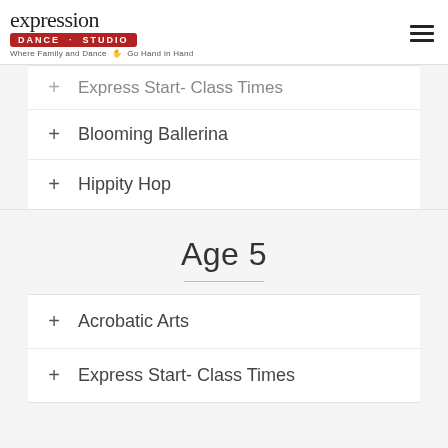[Figure (logo): Expression Dance Studio logo with tagline 'Where Family and Dance Go Hand in Hand']
+ Express Start- Class Times
+ Blooming Ballerina
+ Hippity Hop
Age 5
+ Acrobatic Arts
+ Express Start- Class Times